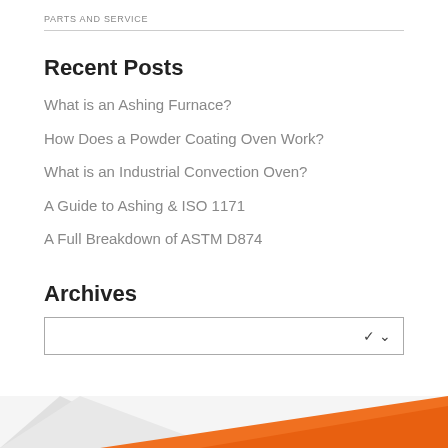PARTS AND SERVICE
Recent Posts
What is an Ashing Furnace?
How Does a Powder Coating Oven Work?
What is an Industrial Convection Oven?
A Guide to Ashing & ISO 1171
A Full Breakdown of ASTM D874
Archives